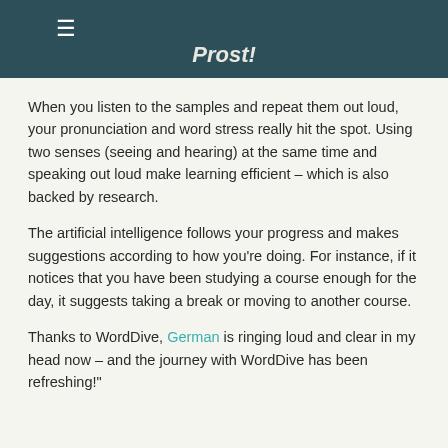≡
Prost!
When you listen to the samples and repeat them out loud, your pronunciation and word stress really hit the spot. Using two senses (seeing and hearing) at the same time and speaking out loud make learning efficient – which is also backed by research.
The artificial intelligence follows your progress and makes suggestions according to how you're doing. For instance, if it notices that you have been studying a course enough for the day, it suggests taking a break or moving to another course.
Thanks to WordDive, German is ringing loud and clear in my head now – and the journey with WordDive has been refreshing!"